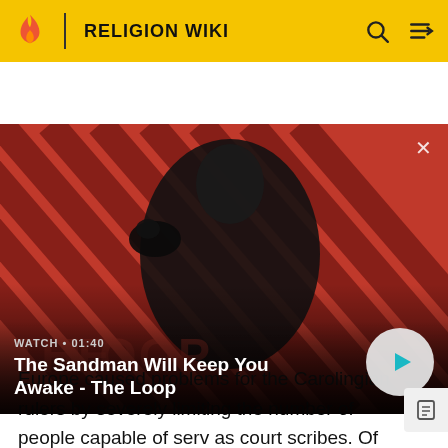RELIGION WIKI
[Figure (screenshot): Video thumbnail showing a dark-clothed figure with a crow on shoulder against a red diagonal-striped background. Text overlay: WATCH • 01:40 / The Sandman Will Keep You Awake - The Loop. Play button visible on right.]
Europe caused problems for the Carolingian rulers by severely limiting the number of people capable of serv as court scribes. Of even greater concern to them was the fact that not all parish priests possessed the skill to read the Vulgate Bible. An additional problem was that the